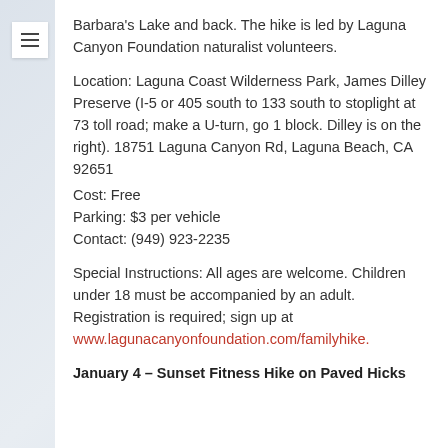Barbara's Lake and back. The hike is led by Laguna Canyon Foundation naturalist volunteers.
Location: Laguna Coast Wilderness Park, James Dilley Preserve (I-5 or 405 south to 133 south to stoplight at 73 toll road; make a U-turn, go 1 block. Dilley is on the right). 18751 Laguna Canyon Rd, Laguna Beach, CA 92651
Cost: Free
Parking: $3 per vehicle
Contact: (949) 923-2235
Special Instructions: All ages are welcome. Children under 18 must be accompanied by an adult. Registration is required; sign up at www.lagunacanyonfoundation.com/familyhike.
January 4 – Sunset Fitness Hike on Paved Hicks